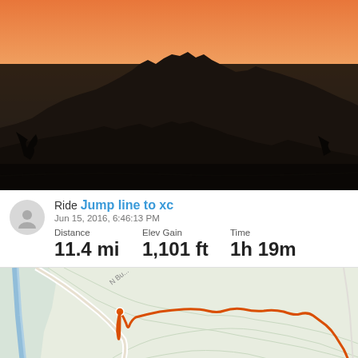[Figure (photo): Sunset landscape photo showing dark mountain silhouettes against an orange-pink sky, with desert scrub in the foreground.]
Ride Jump line to xc
Jun 15, 2016, 6:46:13 PM
Distance   Elev Gain   Time
11.4 mi    1,101 ft    1h 19m
[Figure (map): Map showing a GPS route trace in orange over a light green/gray topographic map background. Route goes from left-center area to the right side of the map with an irregular path following trails.]